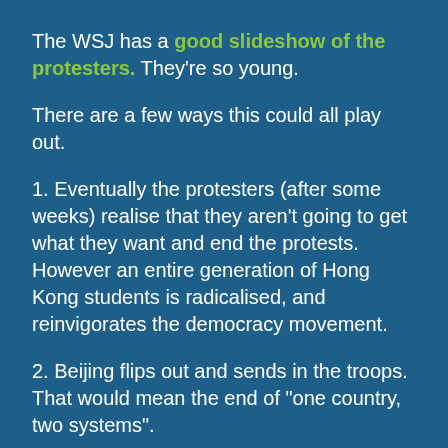The WSJ has a good slideshow of the protesters. They're so young.
There are a few ways this could all play out.
1. Eventually the protesters (after some weeks) realise that they aren't going to get what they want and end the protests. However an entire generation of Hong Kong students is radicalised, and reinvigorates the democracy movement.
2. Beijing flips out and sends in the troops. That would mean the end of "one country, two systems".
3. Beijing backs down and allows direct elections. I really don't think this would happen.
4. Beijing forces the HK govt to acknowledge the unhealthy